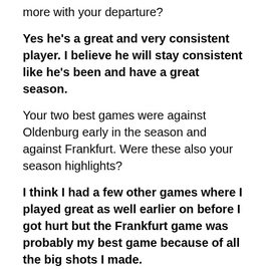more with your departure?
Yes he's a great and very consistent player. I believe he will stay consistent like he's been and have a great season.
Your two best games were against Oldenburg early in the season and against Frankfurt. Were these also your season highlights?
I think I had a few other games where I played great as well earlier on before I got hurt but the Frankfurt game was probably my best game because of all the big shots I made.
The medi Bayreuth fans belong to the most passionate in the Beko BBL. How would you like to say farewell to them?